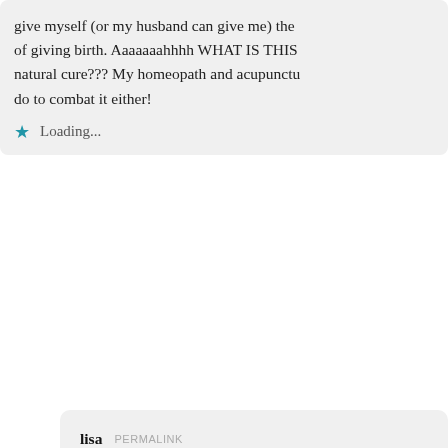give myself (or my husband can give me) the of giving birth. Aaaaaaahhhh WHAT IS THIS natural cure??? My homeopath and acupunctu do to combat it either!
Loading...
lisa  PERMALINK
May 3, 2013 11:54 pm
my midwife studied GBS i almost 2 years trying every could think of and GBS res seed extract and bee propol garlic did not kill it in the l using Hibiclens after bowe the idea of using the Hibicl been able to kill it with just propolis and probiotics mys